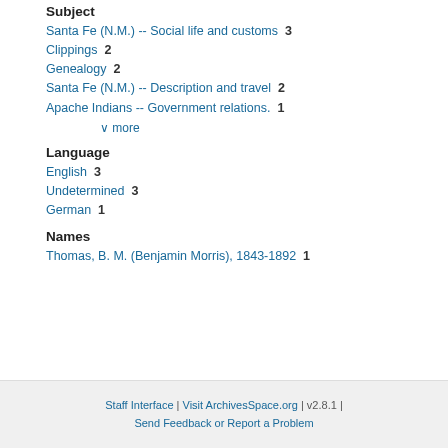Subject
Santa Fe (N.M.) -- Social life and customs  3
Clippings  2
Genealogy  2
Santa Fe (N.M.) -- Description and travel  2
Apache Indians -- Government relations.  1
∨ more
Language
English  3
Undetermined  3
German  1
Names
Thomas, B. M. (Benjamin Morris), 1843-1892  1
Staff Interface | Visit ArchivesSpace.org | v2.8.1 | Send Feedback or Report a Problem